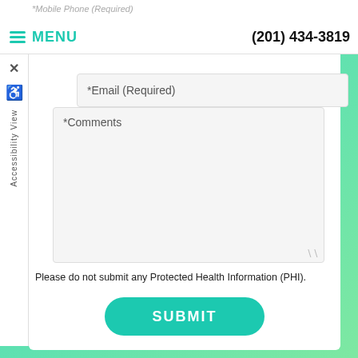*Mobile Phone (Required)  (201) 434-3819
*Email (Required)
*Comments
Please do not submit any Protected Health Information (PHI).
SUBMIT